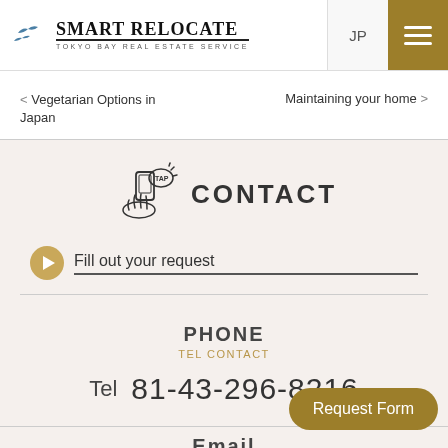Smart Relocate - Tokyo Bay Real Estate Service | JP
< Vegetarian Options in Japan
Maintaining your home >
CONTACT
Fill out your request
PHONE
TEL CONTACT
Tel  81-43-296-8216
Request Form
Email